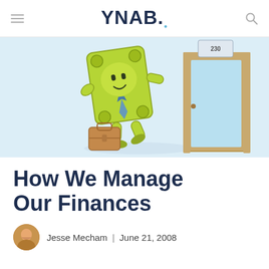YNAB.
[Figure (illustration): Cartoon illustration of an animated dollar bill character wearing a blue tie and carrying a brown briefcase, walking confidently toward an open door, on a light blue background.]
How We Manage Our Finances
Jesse Mecham | June 21, 2008